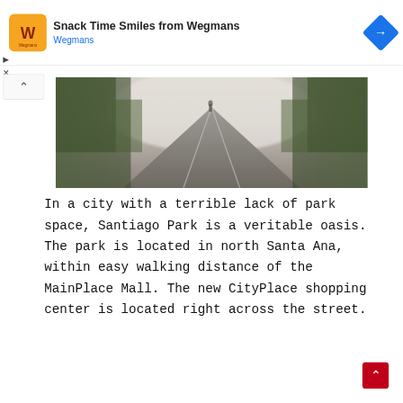[Figure (screenshot): Advertisement banner: Wegmans 'Snack Time Smiles from Wegmans' with orange logo, blue navigation diamond icon, play and close controls.]
[Figure (photo): A blurry outdoor road or path scene with trees on either side and a figure in the distance, appears to be Santiago Park.]
In a city with a terrible lack of park space, Santiago Park is a veritable oasis.  The park is located in north Santa Ana, within easy walking distance of the MainPlace Mall.  The new CityPlace shopping center is located right across the street.